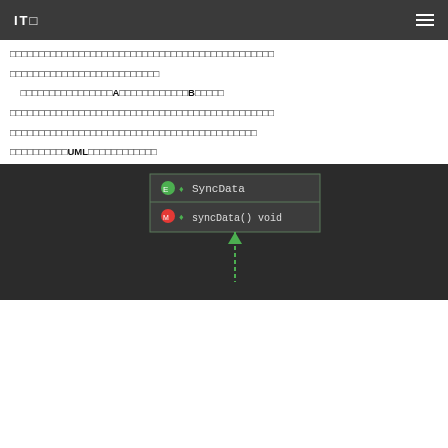IT□ ≡
□□□□□□□□□□□□□□□□□□□□□□□□□□□□□□□□□□□□□□□□□□□□□□□□□□□□□□□□□□□□□□□□□□□□□□□□□□□□□□□□□□□□□□□□□□□□□□□□□□□□□□□□□□□□□□□□□□□□□□□□□□□□□□□□□□□□□□□□□□□□□□□□□□□□□□□□□□□□□□□□□□□□□□□□□□□□□□□□□□□□□□□□□□□□□□□□□□□□□□□□□□□□□□□□□□□□□□□□□□□□□□□□□□□□□□□□□□□□□□□□□□□□□□□□□□□□□□□□□□□□□□□□□A□□□□□□□□□□□□B□□□□□□□□□□□□□□□□□□□□□□□□□□□□□□□□□□□□□□□□□□□□□□□□□□□□□□□□□□□□□□□□□□□□□□□□□□□□□□□□□□□□□□□□□□□□□□□□□□□□□□□□□□□□□□□□□□□□□□□□□□□□□□□□□□□□□□□□□□□□□□□□□□□□□□□□□□□□UML□□□□□□□□□□
[Figure (screenshot): UML class diagram screenshot showing a class named SyncData with a method syncData() void, displayed in a dark IDE theme. A green dashed arrow points upward from below the class box.]